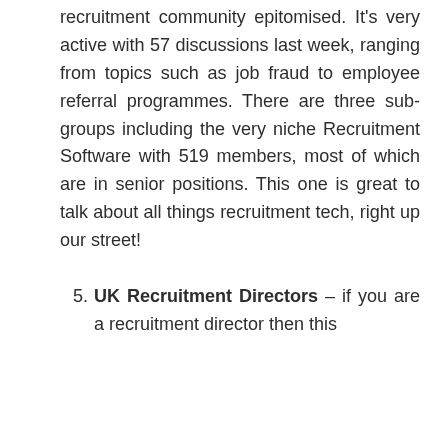recruitment community epitomised. It's very active with 57 discussions last week, ranging from topics such as job fraud to employee referral programmes. There are three sub-groups including the very niche Recruitment Software with 519 members, most of which are in senior positions. This one is great to talk about all things recruitment tech, right up our street!
5. UK Recruitment Directors – if you are a recruitment director then this